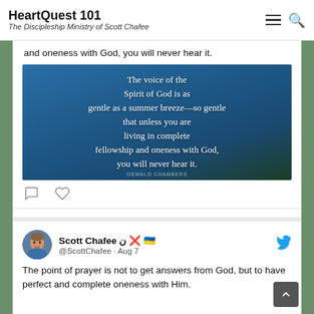HeartQuest 101 — The Discipleship Ministry of Scott Chafee
and oneness with God, you will never hear it.
[Figure (photo): Quote image on mountain background: 'The voice of the Spirit of God is as gentle as a summer breeze—so gentle that unless you are living in complete fellowship and oneness with God, you will never hear it.' attributed to Oswald Chambers]
Scott Chafee ن ❌ 🇺🇦 @ScottChafee · Aug 7
The point of prayer is not to get answers from God, but to have perfect and complete oneness with Him.